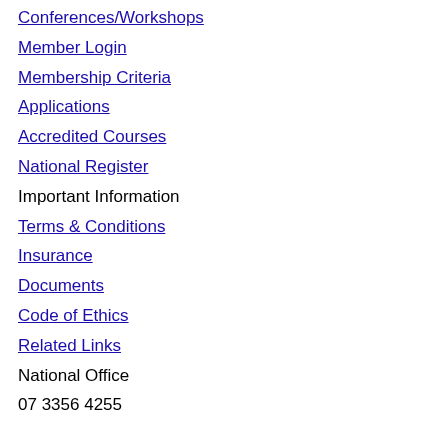Conferences/Workshops
Member Login
Membership Criteria
Applications
Accredited Courses
National Register
Important Information
Terms & Conditions
Insurance
Documents
Code of Ethics
Related Links
National Office
07 3356 4255